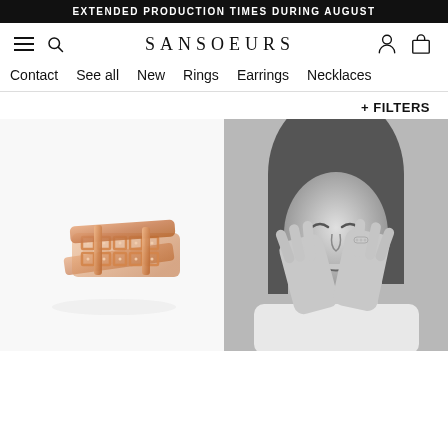EXTENDED PRODUCTION TIMES DURING AUGUST
SANSOEURS
Contact
See all
New
Rings
Earrings
Necklaces
+ FILTERS
[Figure (photo): Rose gold diamond lattice ring product photo on white background]
[Figure (photo): Black and white photo of smiling woman holding face with hands wearing a ring]